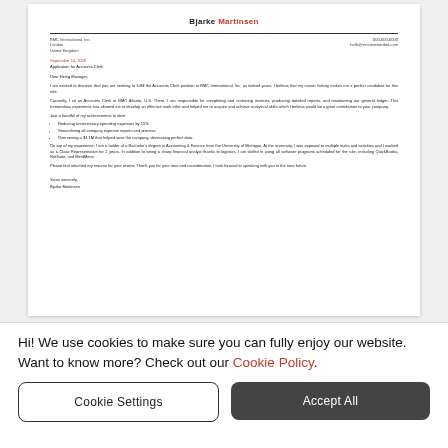[Figure (other): Preview thumbnail of a cover letter document for Bjarke Martinsen, addressed to BMC International Inc., showing address block, date, subject line, salutation, body paragraphs, bullet points, and closing signature.]
View administrative cover letter examples
Hi! We use cookies to make sure you can fully enjoy our website. Want to know more? Check out our Cookie Policy.
Cookie Settings
Accept All